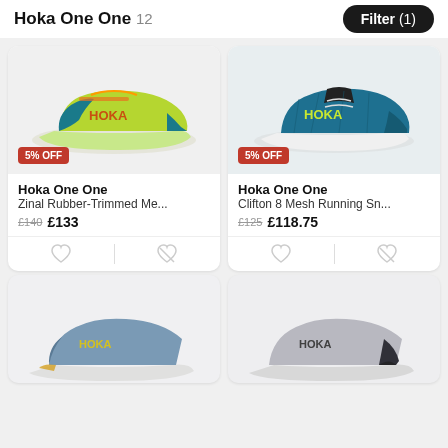Hoka One One 12  Filter (1)
[Figure (photo): Yellow-green and teal Hoka One One Zinal running shoe on grey background with 5% OFF badge]
Hoka One One
Zinal Rubber-Trimmed Me...
£140  £133
[Figure (photo): Teal and black Hoka One One Clifton 8 running shoe on grey background with 5% OFF badge]
Hoka One One
Clifton 8 Mesh Running Sn...
£125  £118.75
[Figure (photo): Partial view of blue/slate Hoka One One running shoe at bottom of page]
[Figure (photo): Partial view of grey/black Hoka One One running shoe at bottom of page]